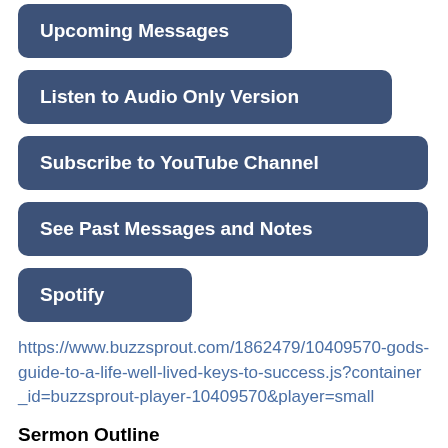Upcoming Messages
Listen to Audio Only Version
Subscribe to YouTube Channel
See Past Messages and Notes
Spotify
https://www.buzzsprout.com/1862479/10409570-gods-guide-to-a-life-well-lived-keys-to-success.js?container_id=buzzsprout-player-10409570&player=small
Sermon Outline